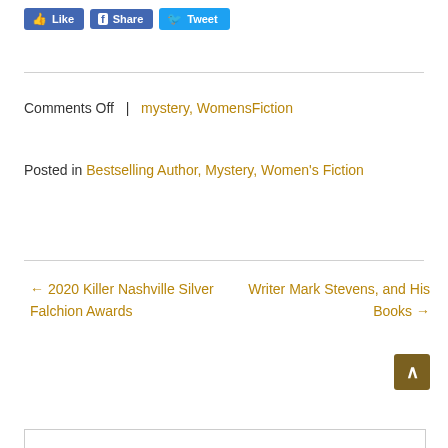[Figure (screenshot): Social media buttons: Like (Facebook), Share (Facebook), Tweet (Twitter)]
Comments Off  |  mystery, WomensFiction
Posted in Bestselling Author, Mystery, Women's Fiction
← 2020 Killer Nashville Silver Falchion Awards
Writer Mark Stevens, and His Books →